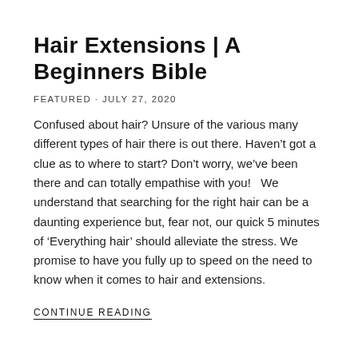Hair Extensions | A Beginners Bible
FEATURED · JULY 27, 2020
Confused about hair? Unsure of the various many different types of hair there is out there. Haven't got a clue as to where to start? Don't worry, we've been there and can totally empathise with you!   We understand that searching for the right hair can be a daunting experience but, fear not, our quick 5 minutes of 'Everything hair' should alleviate the stress. We promise to have you fully up to speed on the need to know when it comes to hair and extensions.
CONTINUE READING